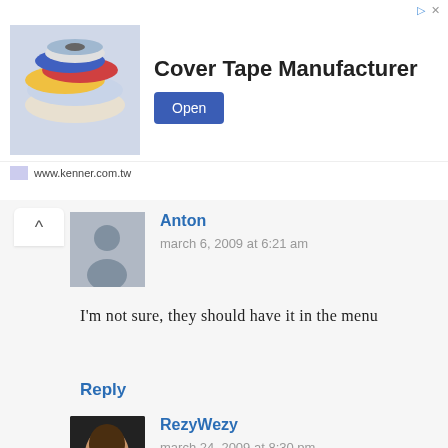[Figure (screenshot): Advertisement banner for Cover Tape Manufacturer (www.kenner.com.tw) showing rolls of colored tape, with an Open button]
Anton
march 6, 2009 at 6:21 am
I'm not sure, they should have it in the menu
Reply
RezyWezy
march 24, 2009 at 8:30 pm